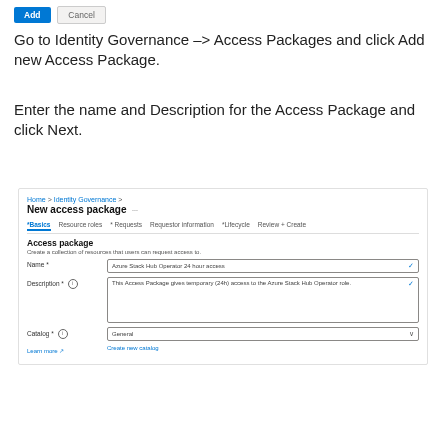[Figure (screenshot): Azure portal UI buttons: Add (blue) and Cancel (grey)]
Go to Identity Governance –> Access Packages and click Add new Access Package.
Enter the name and Description for the Access Package and click Next.
[Figure (screenshot): Azure portal screenshot showing New access package form with breadcrumb 'Home > Identity Governance >', tabs (Basics, Resource roles, Requests, Requestor information, Lifecycle, Review + Create), form fields: Name = 'Azure Stack Hub Operator 24 hour access', Description = 'This Access Package gives temporary (24h) access to the Azure Stack Hub Operator role.', Catalog = 'General', and links 'Learn more' and 'Create new catalog']